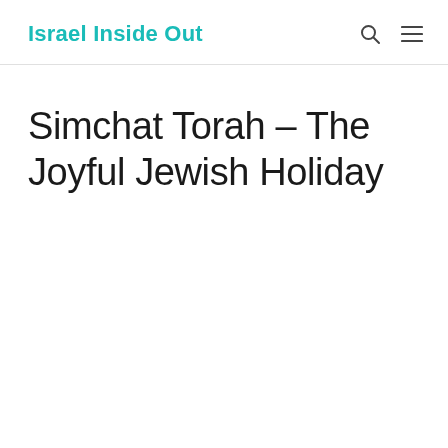Israel Inside Out
Simchat Torah – The Joyful Jewish Holiday